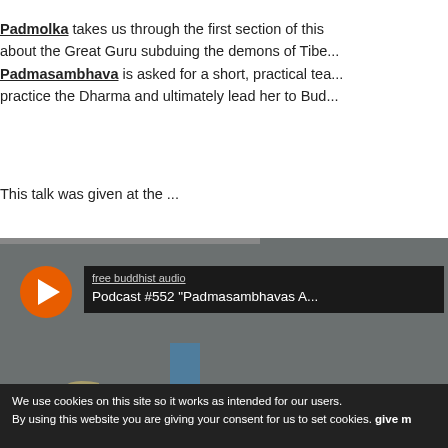Padmolka takes us through the first section of this about the Great Guru subduing the demons of Tibe... Padmasambhava is asked for a short, practical tea... practice the Dharma and ultimately lead her to Bud...
This talk was given at the ...
[Figure (screenshot): SoundCloud embedded audio player widget showing 'free buddhist audio' podcast episode #552 'Padmasambhavas A...' with an orange play button, dark info box, and orange 'Play on SoundCloud' bar at bottom]
We use cookies on this site so it works as intended for our users. By using this website you are giving your consent for us to set cookies. give m...